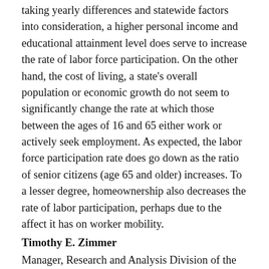taking yearly differences and statewide factors into consideration, a higher personal income and educational attainment level does serve to increase the rate of labor force participation. On the other hand, the cost of living, a state's overall population or economic growth do not seem to significantly change the rate at which those between the ages of 16 and 65 either work or actively seek employment. As expected, the labor force participation rate does go down as the ratio of senior citizens (age 65 and older) increases. To a lesser degree, homeownership also decreases the rate of labor participation, perhaps due to the affect it has on worker mobility.
Timothy E. Zimmer
Manager, Research and Analysis Division of the Indiana Department of Workforce Development